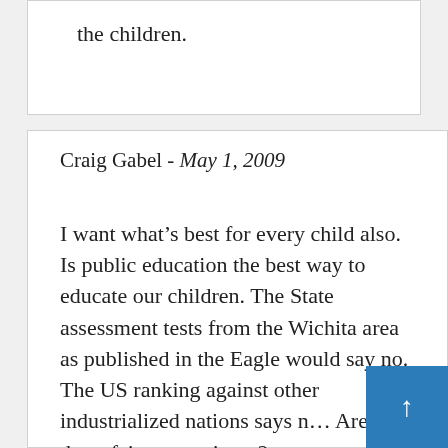the children.
Craig Gabel - May 1, 2009
I want what's best for every child also. Is public education the best way to educate our children. The State assessment tests from the Wichita area as published in the Eagle would say no. The US ranking against other industrialized nations says n… Are these fair comparisons?